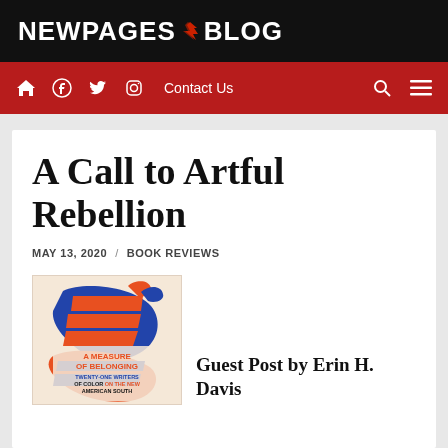NEWPAGES BLOG
Home Facebook Twitter Instagram Contact Us Search Menu
A Call to Artful Rebellion
MAY 13, 2020 / BOOK REVIEWS
[Figure (photo): Book cover of 'A Measure of Belonging: Twenty-One Writers of Color on the New American South' with illustrated hands in red and blue]
Guest Post by Erin H. Davis